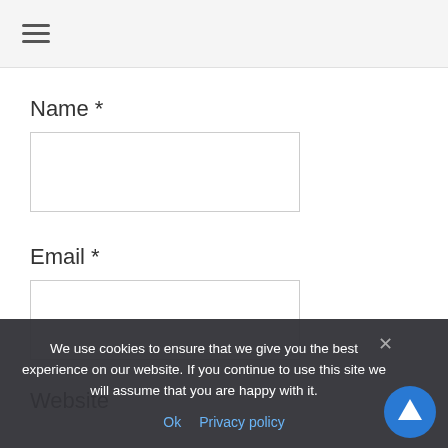≡
Name *
Email *
Website
We use cookies to ensure that we give you the best experience on our website. If you continue to use this site we will assume that you are happy with it.
Ok  Privacy policy